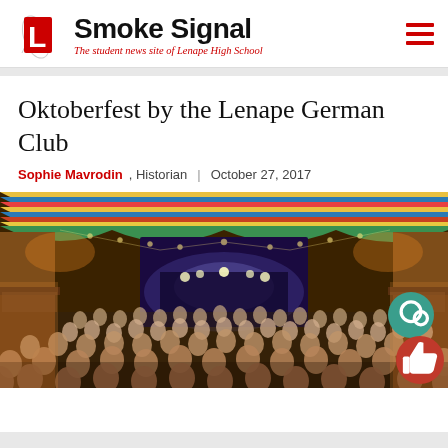Smoke Signal — The student news site of Lenape High School
Oktoberfest by the Lenape German Club
Sophie Mavrodin, Historian | October 27, 2017
[Figure (photo): Interior of a large Oktoberfest beer tent filled with a massive crowd of people under colorful striped ceiling draping with bright stage lights in the background]